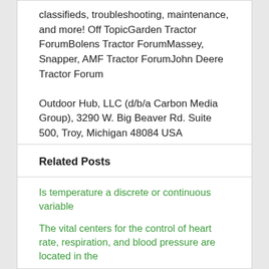classifieds, troubleshooting, maintenance, and more! Off TopicGarden Tractor ForumBolens Tractor ForumMassey, Snapper, AMF Tractor ForumJohn Deere Tractor Forum
Outdoor Hub, LLC (d/b/a Carbon Media Group), 3290 W. Big Beaver Rd. Suite 500, Troy, Michigan 48084 USA
Related Posts
Is temperature a discrete or continuous variable
The vital centers for the control of heart rate, respiration, and blood pressure are located in the
In what ways does childe harold represent the byronic hero?